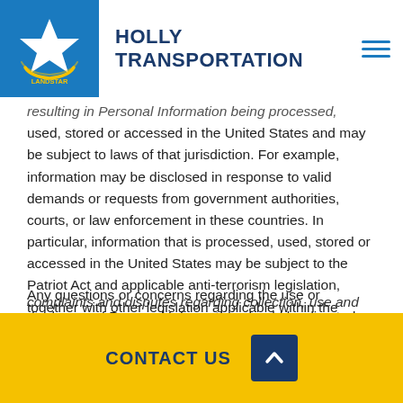HOLLY TRANSPORTATION
resulting in Personal Information being processed, used, stored or accessed in the United States and may be subject to laws of that jurisdiction. For example, information may be disclosed in response to valid demands or requests from government authorities, courts, or law enforcement in these countries. In particular, information that is processed, used, stored or accessed in the United States may be subject to the Patriot Act and applicable anti-terrorism legislation, together with other legislation applicable within the United States.
Any questions or concerns regarding the use or disclosure of Personal Information should be directed
complaints and disputes regarding collection, use and
CONTACT US